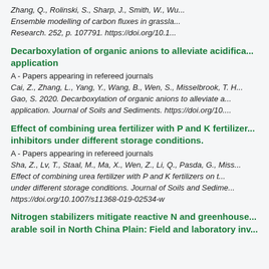Zhang, Q., Rolinski, S., Sharp, J., Smith, W., Wu... Ensemble modelling of carbon fluxes in grassla... Research. 252, p. 107791. https://doi.org/10.1...
Decarboxylation of organic anions to alleviate acidifica... application
A - Papers appearing in refereed journals
Cai, Z., Zhang, L., Yang, Y., Wang, B., Wen, S., Misselbrook, T. H... Gao, S. 2020. Decarboxylation of organic anions to alleviate a... application. Journal of Soils and Sediments. https://doi.org/10....
Effect of combining urea fertilizer with P and K fertilizer... inhibitors under different storage conditions.
A - Papers appearing in refereed journals
Sha, Z., Lv, T., Staal, M., Ma, X., Wen, Z., Li, Q., Pasda, G., Miss... Effect of combining urea fertilizer with P and K fertilizers on t... under different storage conditions. Journal of Soils and Sedime... https://doi.org/10.1007/s11368-019-02534-w
Nitrogen stabilizers mitigate reactive N and greenhouse... arable soil in North China Plain: Field and laboratory inv...